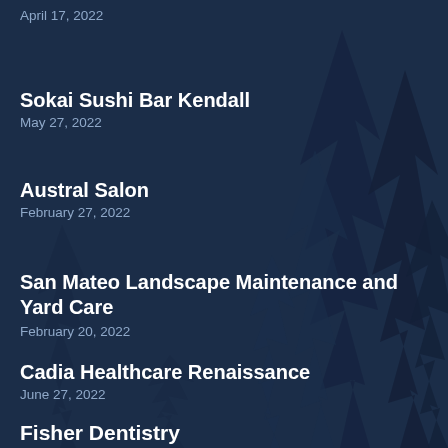April 17, 2022
Sokai Sushi Bar Kendall
May 27, 2022
Austral Salon
February 27, 2022
San Mateo Landscape Maintenance and Yard Care
February 20, 2022
Cadia Healthcare Renaissance
June 27, 2022
Fisher Dentistry